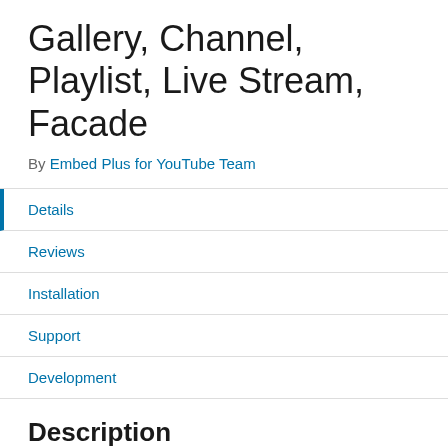Gallery, Channel, Playlist, Live Stream, Facade
By Embed Plus for YouTube Team
Details
Reviews
Installation
Support
Development
Description
[Figure (screenshot): YouTube WordPress Plugin video thumbnail on black background with plugin icon and three-dot menu]